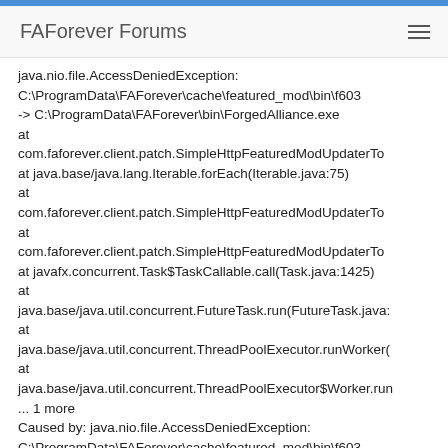FAForever Forums
java.nio.file.AccessDeniedException:
C:\ProgramData\FAForever\cache\featured_mod\bin\f603
-> C:\ProgramData\FAForever\bin\ForgedAlliance.exe
at
com.faforever.client.patch.SimpleHttpFeaturedModUpdaterTo
at java.base/java.lang.Iterable.forEach(Iterable.java:75)
at
com.faforever.client.patch.SimpleHttpFeaturedModUpdaterTo
at
com.faforever.client.patch.SimpleHttpFeaturedModUpdaterTo
at javafx.concurrent.Task$TaskCallable.call(Task.java:1425)
at
java.base/java.util.concurrent.FutureTask.run(FutureTask.java:
at
java.base/java.util.concurrent.ThreadPoolExecutor.runWorker(
at
java.base/java.util.concurrent.ThreadPoolExecutor$Worker.run
... 1 more
Caused by: java.nio.file.AccessDeniedException:
C:\ProgramData\FAForever\cache\featured_mod\bin\f603